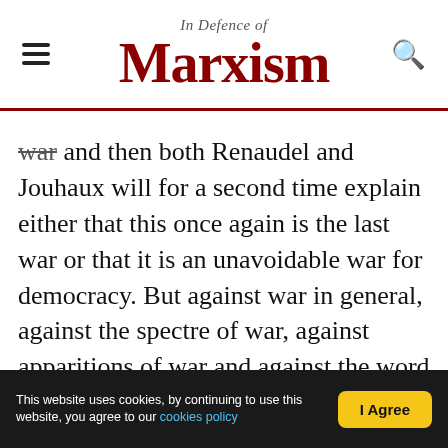In Defence of Marxism
war and then both Renaudel and Jouhaux will for a second time explain either that this once again is the last war or that it is an unavoidable war for democracy. But against war in general, against the spectre of war, against apparitions of war and against the word 'war' they are quite ready to protest on the streets of London, Paris and any where else. But, comrades, wouldn't any rogue and any bourgeois come out on this sort of demonstration, wouldn't Stinnes – but Stinnes though will be past coming out [laughter]. But it's all the same perhaps his sister-in-law, his aunt, his...
This website uses cookies, by continuing to use this website, you agree to our cookies policy | I Agree